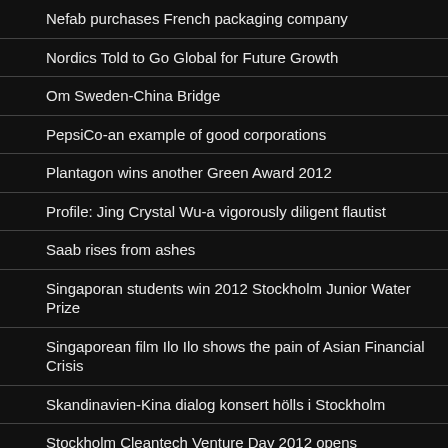Nefab purchases French packaging company
Nordics Told to Go Global for Future Growth
Om Sweden-China Bridge
PepsiCo-an example of good corporations
Plantagon wins another Green Award 2012
Profile: Jing Crystal Wu-a vigorously diligent flautist
Saab rises from ashes
Singaporan students win 2012 Stockholm Junior Water Prize
Singaporean film Ilo Ilo shows the pain of Asian Financial Crisis
Skandinavien-Kina dialog konsert hölls i Stockholm
Stockholm Cleantech Venture Day 2012 opens
Stockholm International Film Festival is underway
Supporting small farmers can achieve big impact: African expert